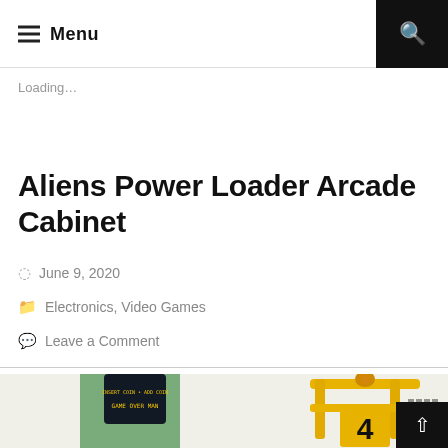Menu
Loading…
Aliens Power Loader Arcade Cabinet
June 9, 2020
Electronics, Video Games
Leave a Comment
[Figure (photo): Aliens Power Loader Arcade Cabinet — a green arcade cabinet with a dark screen showing 'GAME OVER MAN' text, alongside a yellow power loader exosuit with the number 4 on it]